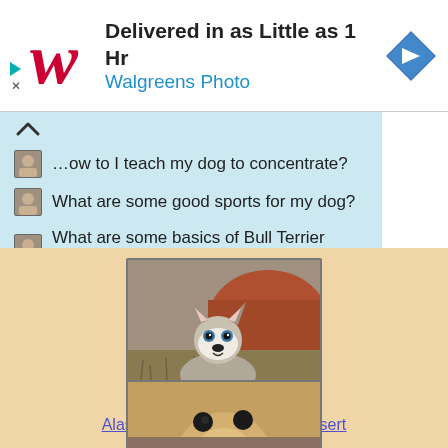[Figure (other): Walgreens Photo advertisement banner. Walgreens cursive W logo in red on left, text 'Delivered in as Little as 1 Hr' in bold black and 'Walgreens Photo' in blue, navigation arrow icon on right.]
How to I teach my dog to concentrate?
What are some good sports for my dog?
What are some basics of Bull Terrier training?
[Figure (photo): Alaskan Klee Kai dog sitting in a desert landscape with red rocks in the background.]
Alaskan Klee Kai dog in the desert
[Figure (photo): A large breed dog (appears to be a mastiff-type breed with fawn coloring) looking upward, photographed indoors.]